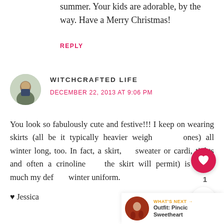summer. Your kids are adorable, by the way. Have a Merry Christmas!
REPLY
WITCHCRAFTED LIFE
DECEMBER 22, 2013 AT 9:06 PM
You look so fabulously cute and festive!!! I keep on wearing skirts (all be it typically heavier weight ones) all winter long, too. In fact, a skirt, a sweater or cardi, tights and often a crinoline (if the skirt will permit) is pretty much my default winter uniform.
♥ Jessica